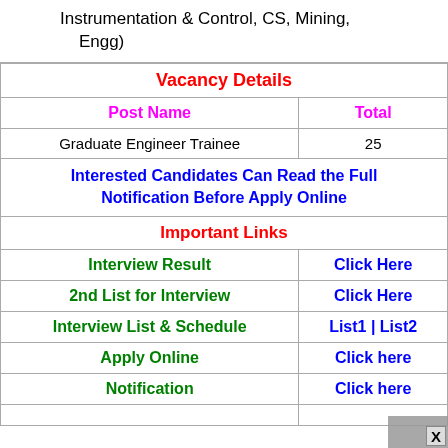Instrumentation & Control, CS, Mining, Engg)
| Vacancy Details |  |
| --- | --- |
| Post Name | Total |
| Graduate Engineer Trainee | 25 |
| Interested Candidates Can Read the Full Notification Before Apply Online |  |
| Important Links |  |
| Interview Result | Click Here |
| 2nd List for Interview | Click Here |
| Interview List & Schedule | List1 | List2 |
| Apply Online | Click here |
| Notification | Click here |